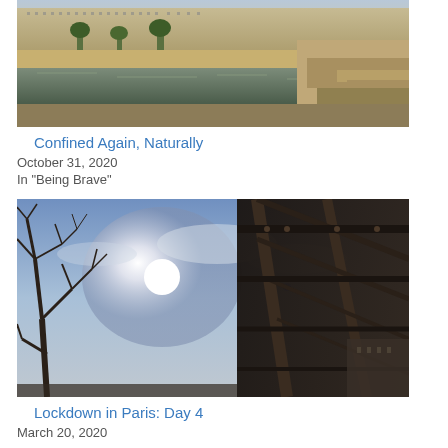[Figure (photo): Photo of Paris riverfront with Haussmann buildings and the Seine river, golden hour light]
Confined Again, Naturally
October 31, 2020
In "Being Brave"
[Figure (photo): Photo looking upward at bare winter trees and a building with sun glare and blue sky, lockdown in Paris]
Lockdown in Paris: Day 4
March 20, 2020